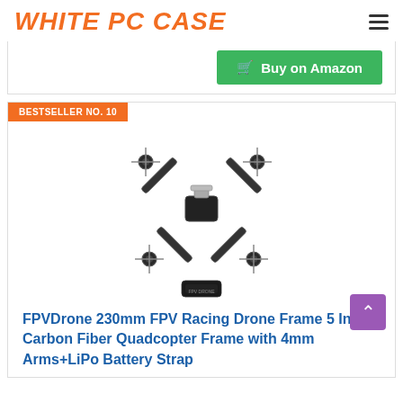WHITE PC CASE
Buy on Amazon
BESTSELLER NO. 10
[Figure (photo): FPVDrone 230mm FPV Racing Drone frame - carbon fiber quadcopter frame with 4 arms and a LiPo battery strap accessory shown separately below]
FPVDrone 230mm FPV Racing Drone Frame 5 Inch Carbon Fiber Quadcopter Frame with 4mm Arms+LiPo Battery Strap